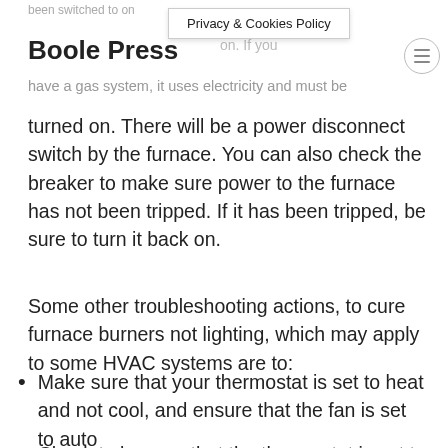been switched to on
Privacy & Cookies Policy
Boole Press
on. If you have a gas system, it uses electricity and must be turned on. There will be a power disconnect switch by the furnace. You can also check the breaker to make sure power to the furnace has not been tripped. If it has been tripped, be sure to turn it back on.
Some other troubleshooting actions, to cure furnace burners not lighting, which may apply to some HVAC systems are to:
Make sure that your thermostat is set to heat and not cool, and ensure that the fan is set to auto
Check to be sure that the thermostat is set to a temperature high enough to trigger the furnace to emit heat.